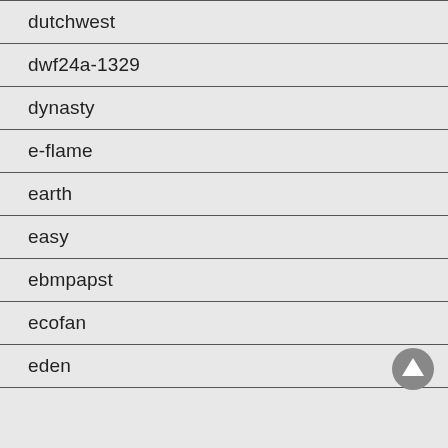dutchwest
dwf24a-1329
dynasty
e-flame
earth
easy
ebmpapst
ecofan
eden